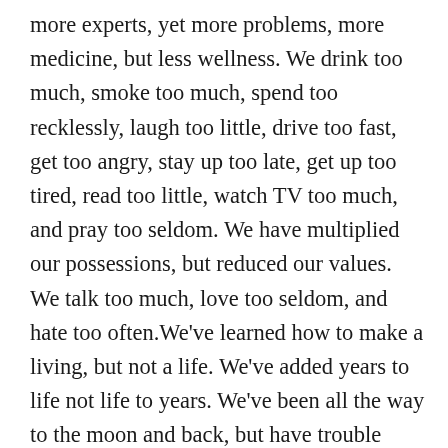more experts, yet more problems, more medicine, but less wellness. We drink too much, smoke too much, spend too recklessly, laugh too little, drive too fast, get too angry, stay up too late, get up too tired, read too little, watch TV too much, and pray too seldom. We have multiplied our possessions, but reduced our values. We talk too much, love too seldom, and hate too often.We've learned how to make a living, but not a life. We've added years to life not life to years. We've been all the way to the moon and back, but have trouble crossing the street to meet a new neighbor. We conquered outer space but not inner space. We've done larger things, but not better things. We've cleaned up the air, but